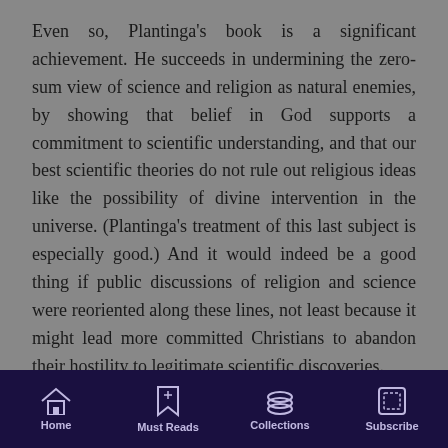Even so, Plantinga's book is a significant achievement. He succeeds in undermining the zero-sum view of science and religion as natural enemies, by showing that belief in God supports a commitment to scientific understanding, and that our best scientific theories do not rule out religious ideas like the possibility of divine intervention in the universe. (Plantinga's treatment of this last subject is especially good.) And it would indeed be a good thing if public discussions of religion and science were reoriented along these lines, not least because it might lead more committed Christians to abandon their hostility to legitimate scientific discoveries.
Within the academy, however, the committed naturalist will likely regard this as a low bar to clear,
Home | Must Reads | Collections | Subscribe